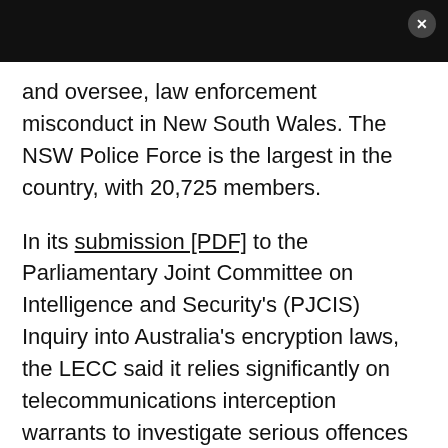and oversee, law enforcement misconduct in New South Wales. The NSW Police Force is the largest in the country, with 20,725 members.
In its submission [PDF] to the Parliamentary Joint Committee on Intelligence and Security's (PJCIS) Inquiry into Australia's encryption laws, the LECC said it relies significantly on telecommunications interception warrants to investigate serious offences allegedly committed by NSW Police Force officers.
It said that last year, 93 percent of IP communications intercepted by virtue of LECC warrants were encrypted. It also said its digital